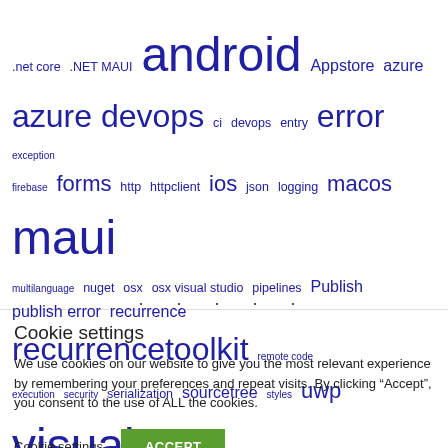[Figure (infographic): Tag cloud of technology terms in blue, varying font sizes indicating frequency/importance. Terms include: .net core, .NET MAUI, android, Appstore, azure, azure devops, ci, devops, entry, error, exception, firebase, forms, http, httpclient, ios, json, logging, macos, maui, multilanguage, nuget, osx, osx visual studio, pipelines, Publish, publish error, recurrence, recurrencetoolkit, remote code execution, security, serialization, sourcetree, styles, uwp, visual studio, visual studio mac, white screen, windows]
Cookie settings
We use cookies on our website to give you the most relevant experience by remembering your preferences and repeat visits. By clicking “Accept”, you consent to the use of ALL the cookies.
Cookie settings   ACCEPT